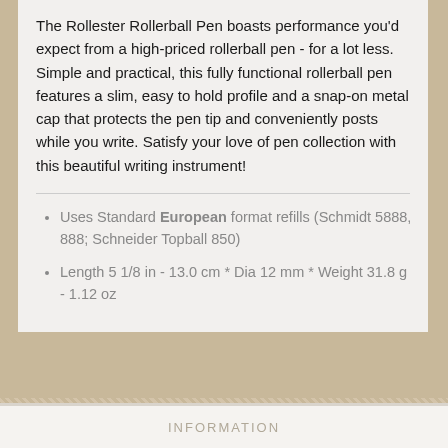The Rollester Rollerball Pen boasts performance you'd expect from a high-priced rollerball pen - for a lot less. Simple and practical, this fully functional rollerball pen features a slim, easy to hold profile and a snap-on metal cap that protects the pen tip and conveniently posts while you write. Satisfy your love of pen collection with this beautiful writing instrument!
Uses Standard European format refills (Schmidt 5888, 888; Schneider Topball 850)
Length 5 1/8 in - 13.0 cm * Dia 12 mm * Weight 31.8 g - 1.12 oz
Tags: Handmade, Rollester, Rollerball Pen, Schmidt 5888F format, Refills, Pens, Fine Writing Instruments
INFORMATION